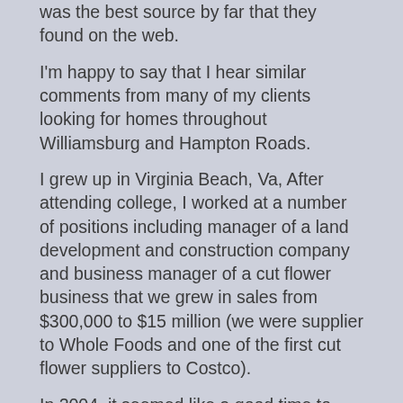was the best source by far that they found on the web.
I'm happy to say that I hear similar comments from many of my clients looking for homes throughout Williamsburg and Hampton Roads.
I grew up in Virginia Beach, Va. After attending college, I worked at a number of positions including manager of a land development and construction company and business manager of a cut flower business that we grew in sales from $300,000 to $15 million (we were supplier to Whole Foods and one of the first cut flower suppliers to Costco).
In 2004, it seemed like a good time to simplify my life. I moved my family from Annapolis to Williamsburg. I went into real estate with Liz Moore and Associates, and was one of the initial agents when Liz opened her Williamsburg branch.
My sons Zach and Josh attended Lafayette High